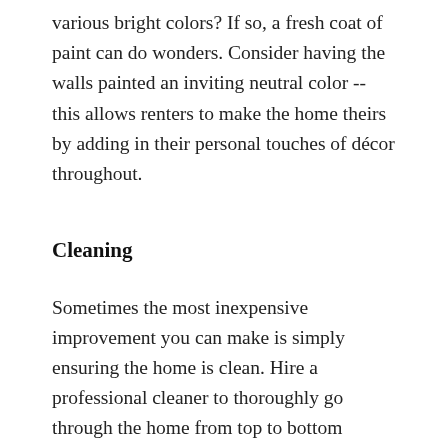various bright colors? If so, a fresh coat of paint can do wonders. Consider having the walls painted an inviting neutral color -- this allows renters to make the home theirs by adding in their personal touches of décor throughout.
Cleaning
Sometimes the most inexpensive improvement you can make is simply ensuring the home is clean. Hire a professional cleaner to thoroughly go through the home from top to bottom dusting, removing cobwebs and cleaning places you may not even think of. This alone can make a world of difference to